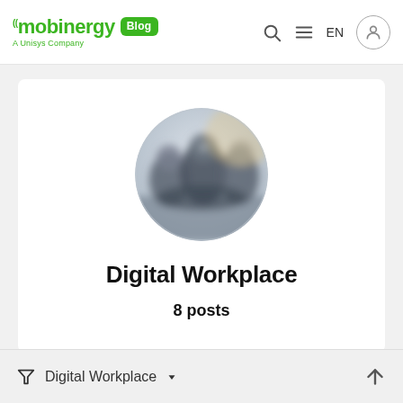mobinergy Blog | EN
[Figure (photo): Circular profile photo showing blurred/blurry image of people in a workplace or meeting setting, used as category avatar for Digital Workplace]
Digital Workplace
8 posts
Digital Workplace (filter dropdown)